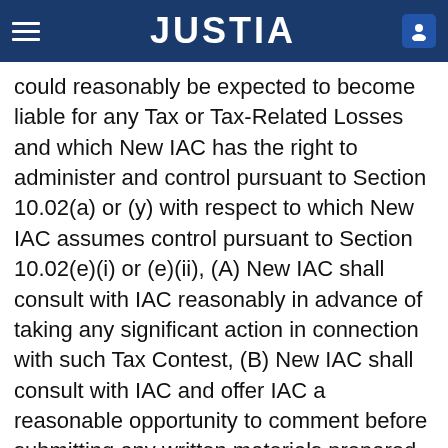JUSTIA
could reasonably be expected to become liable for any Tax or Tax-Related Losses and which New IAC has the right to administer and control pursuant to Section 10.02(a) or (y) with respect to which New IAC assumes control pursuant to Section 10.02(e)(i) or (e)(ii), (A) New IAC shall consult with IAC reasonably in advance of taking any significant action in connection with such Tax Contest, (B) New IAC shall consult with IAC and offer IAC a reasonable opportunity to comment before submitting any written materials prepared or furnished in connection with such Tax Contest, (C) New IAC shall defend such Tax Contest diligently and in good faith, (D) IAC shall be entitled to participate in such Tax Contest and receive copies of any written materials relating to such Tax Contest received from the relevant Tax Authority, and (E) New IAC shall not settle, compromise or abandon any such Tax Contest without